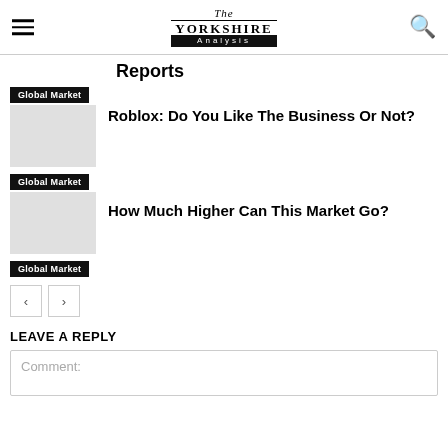The Yorkshire Analysis
Reports
Global Market
Roblox: Do You Like The Business Or Not?
Global Market
How Much Higher Can This Market Go?
Global Market
LEAVE A REPLY
Comment: